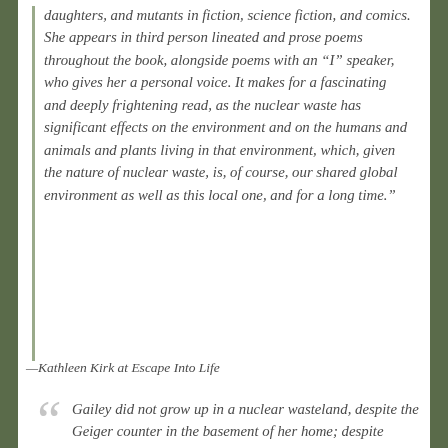daughters, and mutants in fiction, science fiction, and comics. She appears in third person lineated and prose poems throughout the book, alongside poems with an “I” speaker, who gives her a personal voice. It makes for a fascinating and deeply frightening read, as the nuclear waste has significant effects on the environment and on the humans and animals and plants living in that environment, which, given the nature of nuclear waste, is, of course, our shared global environment as well as this local one, and for a long time.”
—Kathleen Kirk at Escape Into Life
Gailey did not grow up in a nuclear wasteland, despite the Geiger counter in the basement of her home; despite considerable poverty, Appalachian Tennessee was a place of considerable natural